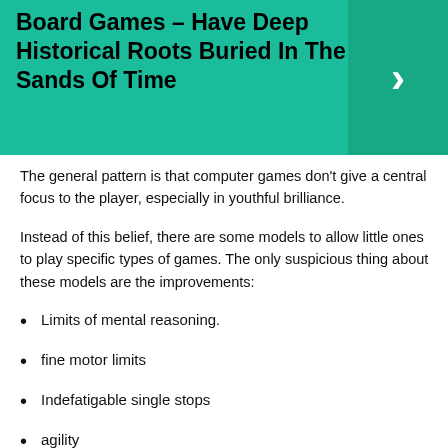Board Games - Have Deep Historical Roots Buried In The Sands Of Time
The general pattern is that computer games don't give a central focus to the player, especially in youthful brilliance.
Instead of this belief, there are some models to allow little ones to play specific types of games. The only suspicious thing about these models are the improvements:
Limits of mental reasoning.
fine motor limits
Indefatigable single stops
agility
Appropriate Game Limits